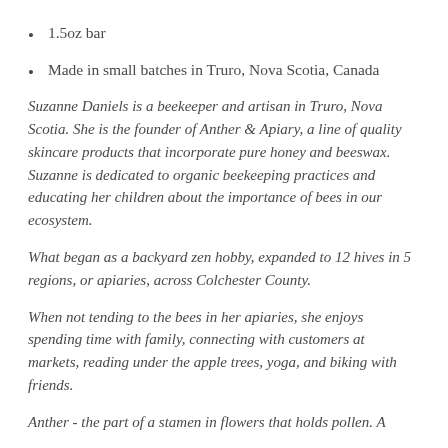1.5oz bar
Made in small batches in Truro, Nova Scotia, Canada
Suzanne Daniels is a beekeeper and artisan in Truro, Nova Scotia. She is the founder of Anther & Apiary, a line of quality skincare products that incorporate pure honey and beeswax. Suzanne is dedicated to organic beekeeping practices and educating her children about the importance of bees in our ecosystem.
What began as a backyard zen hobby, expanded to 12 hives in 5 regions, or apiaries, across Colchester County.
When not tending to the bees in her apiaries, she enjoys spending time with family, connecting with customers at markets, reading under the apple trees, yoga, and biking with friends.
Anther - the part of a stamen in flowers that holds pollen. Anther - the part of a stamen in flowers that holds pollen.